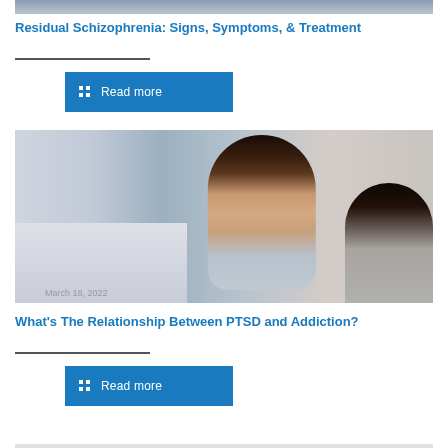[Figure (photo): Partial top edge of a photo, cropped]
Residual Schizophrenia: Signs, Symptoms, & Treatment
[Figure (photo): A Black woman wearing glasses and a light blue shirt, appearing to be a therapist in a consultation setting, speaking with a patient whose back is visible on the right. Office bookshelves in background. Date overlay: March 18, 2022]
What's The Relationship Between PTSD and Addiction?